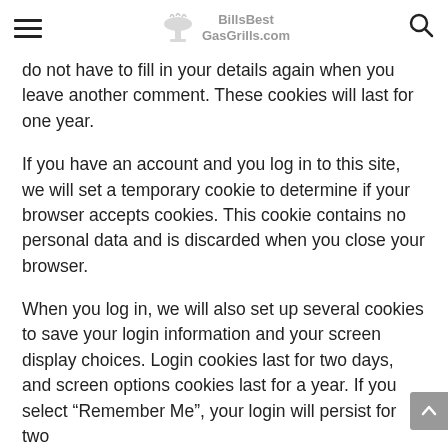BillsBestGasGrills.com
do not have to fill in your details again when you leave another comment. These cookies will last for one year.
If you have an account and you log in to this site, we will set a temporary cookie to determine if your browser accepts cookies. This cookie contains no personal data and is discarded when you close your browser.
When you log in, we will also set up several cookies to save your login information and your screen display choices. Login cookies last for two days, and screen options cookies last for a year. If you select “Remember Me”, your login will persist for two